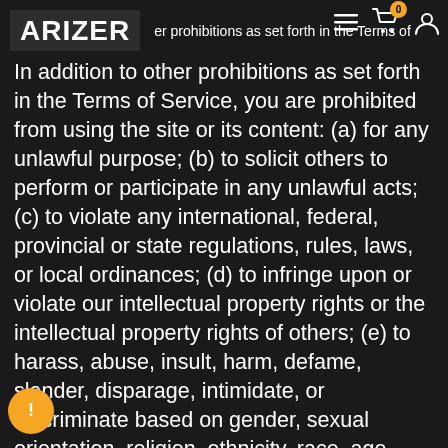ARIZER — navigation header with menu, cart (0), and user icons
In addition to other prohibitions as set forth in the Terms of Service, you are prohibited from using the site or its content: (a) for any unlawful purpose; (b) to solicit others to perform or participate in any unlawful acts; (c) to violate any international, federal, provincial or state regulations, rules, laws, or local ordinances; (d) to infringe upon or violate our intellectual property rights or the intellectual property rights of others; (e) to harass, abuse, insult, harm, defame, slander, disparage, intimidate, or discriminate based on gender, sexual orientation, religion, ethnicity, race, age, national origin, or disability; (f) to submit false or misleading information; (g) to upload or transmit viruses or any other type of malicious code that will or may be used in any way that will affect the functionality or operation of the Service or of any related website, other websites, or the Internet; (h) to collect or track the personal information of others; (i) to spam, phish, pharm, pretext, spider, crawl, or scrape; (j) for any obscene or immoral purpose; or (k) to interfere with or